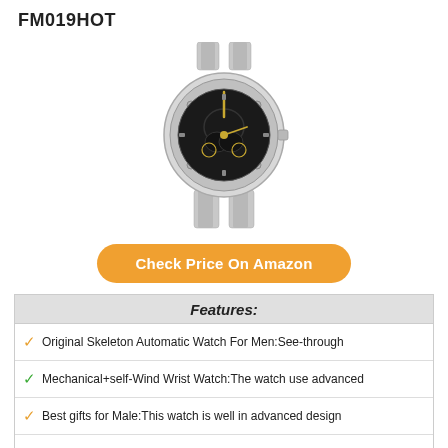FM019HOT
[Figure (photo): Skeleton automatic watch with silver stainless steel bracelet and black dial with gold accents]
Check Price On Amazon
Features:
Original Skeleton Automatic Watch For Men:See-through
Mechanical+self-Wind Wrist Watch:The watch use advanced
Best gifts for Male:This watch is well in advanced design
Waterproof Watches:30M(3ATM/98FT)waterproof,
After-Sale Service:All the watches in our shop enjoy 2 years